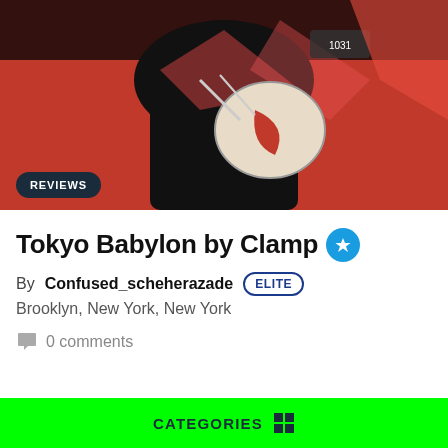[Figure (illustration): Book cover art for Tokyo Babylon by Clamp — anime-style illustration with red and black color scheme, showing a figure in ornate costume with drums, set against a red background with geometric patterns]
REVIEWS
Tokyo Babylon by Clamp ⭐
By Confused_scheherazade ELITE
Brooklyn, New York, New York
0 comments
CATEGORIES ⊞